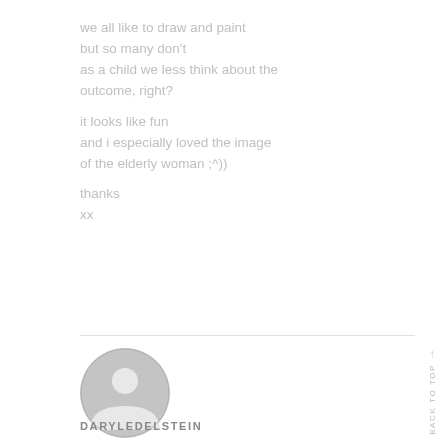we all like to draw and paint
but so many don't
as a child we less think about the outcome, right?

it looks like fun
and i especially loved the image of the elderly woman ;^))

thanks
xx
[Figure (illustration): Generic user avatar icon — a gray circular silhouette with a person outline (head and shoulders)]
DARYLEDELSTEIN